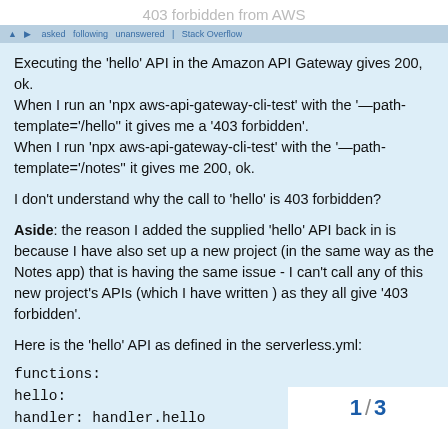403 forbidden from AWS
Executing the 'hello' API in the Amazon API Gateway gives 200, ok.
When I run an 'npx aws-api-gateway-cli-test' with the '—path-template='/hello'' it gives me a '403 forbidden'.
When I run 'npx aws-api-gateway-cli-test' with the '—path-template='/notes'' it gives me 200, ok.

I don't understand why the call to 'hello' is 403 forbidden?

Aside: the reason I added the supplied 'hello' API back in is because I have also set up a new project (in the same way as the Notes app) that is having the same issue - I can't call any of this new project's APIs (which I have written ) as they all give '403 forbidden'.

Here is the 'hello' API as defined in the serverless.yml:
functions:
hello:
handler: handler.hello
1 / 3